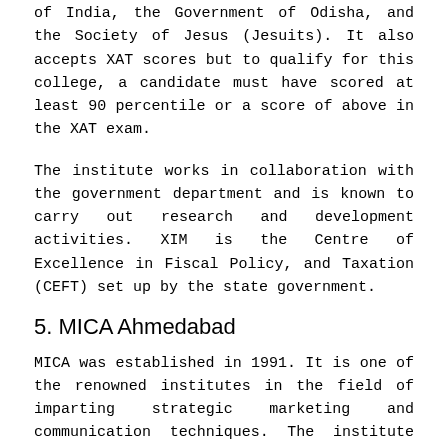of India, the Government of Odisha, and the Society of Jesus (Jesuits). It also accepts XAT scores but to qualify for this college, a candidate must have scored at least 90 percentile or a score of above in the XAT exam.
The institute works in collaboration with the government department and is known to carry out research and development activities. XIM is the Centre of Excellence in Fiscal Policy, and Taxation (CEFT) set up by the state government.
5. MICA Ahmedabad
MICA was established in 1991. It is one of the renowned institutes in the field of imparting strategic marketing and communication techniques. The institute offers various fellowship and certification programs in the area of Marketing Research, Brand Management, Advertising management and a lot more. To be a part of MICA, you need to score 8... percentile in the XAT exam. The application form for all...